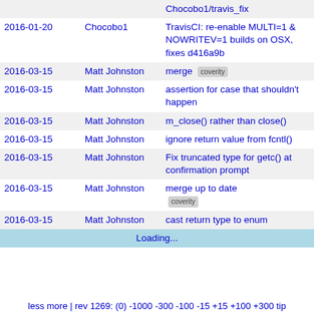| Date | Author | Message |
| --- | --- | --- |
|  |  | Chocobo1/travis_fix |
| 2016-01-20 | Chocobo1 | TravisCI: re-enable MULTI=1 & NOWRITEV=1 builds on OSX, fixes d416a9b |
| 2016-03-15 | Matt Johnston | merge [coverity] |
| 2016-03-15 | Matt Johnston | assertion for case that shouldn't happen |
| 2016-03-15 | Matt Johnston | m_close() rather than close() |
| 2016-03-15 | Matt Johnston | ignore return value from fcntl() |
| 2016-03-15 | Matt Johnston | Fix truncated type for getc() at confirmation prompt |
| 2016-03-15 | Matt Johnston | merge up to date [coverity] |
| 2016-03-15 | Matt Johnston | cast return type to enum |
|  |  | Loading... |
less more | rev 1269: (0) -1000 -300 -100 -15 +15 +100 +300 tip